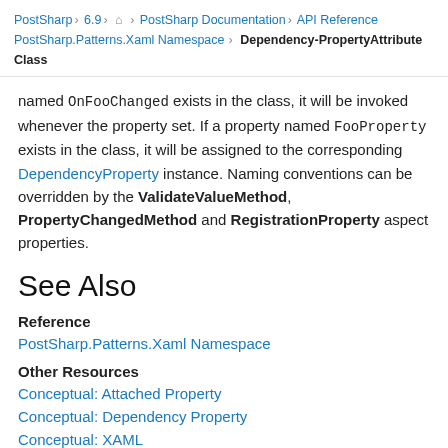PostSharp > 6.9 > 🏠 > PostSharp Documentation > API Reference > PostSharp.Patterns.Xaml Namespace > DependencyPropertyAttribute Class
named OnFooChanged exists in the class, it will be invoked whenever the property set. If a property named FooProperty exists in the class, it will be assigned to the corresponding DependencyProperty instance. Naming conventions can be overridden by the ValidateValueMethod, PropertyChangedMethod and RegistrationProperty aspect properties.
See Also
Reference
PostSharp.Patterns.Xaml Namespace
Other Resources
Conceptual: Attached Property
Conceptual: Dependency Property
Conceptual: XAML